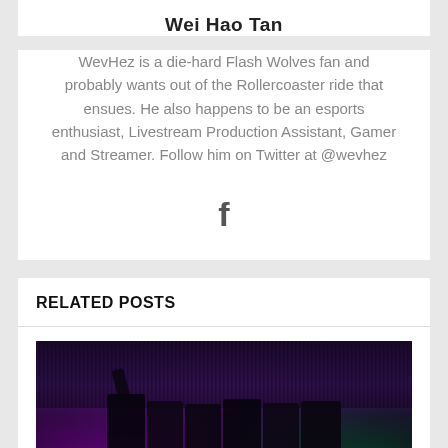Wei Hao Tan
WevHez is a die-hard Flash Wolves fan and probably wants out of the Rollercoaster ride that ensues. He also happens to be an esports enthusiast, Livestream Production Assistant, Gamer and Streamer. Follow him on Twitter at @wevhez
[Figure (illustration): Facebook social media icon (letter f)]
RELATED POSTS
[Figure (photo): Esports team photo on stage with purple and green lighting, players in black jerseys with crowd in background, one player raising fist]